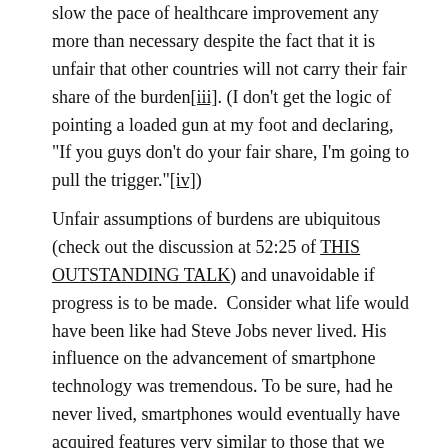slow the pace of healthcare improvement any more than necessary despite the fact that it is unfair that other countries will not carry their fair share of the burden[iii]. (I don't get the logic of pointing a loaded gun at my foot and declaring, "If you guys don't do your fair share, I'm going to pull the trigger."[iv])
Unfair assumptions of burdens are ubiquitous (check out the discussion at 52:25 of THIS OUTSTANDING TALK) and unavoidable if progress is to be made.  Consider what life would have been like had Steve Jobs never lived. His influence on the advancement of smartphone technology was tremendous. To be sure, had he never lived, smartphones would eventually have acquired features very similar to those that we enjoy today–but probably many years from now. It is probably fair to say, that had Jobs never lived, smartphones today would be comparable to those we had five years ago. (Compare specs[v], and consider all the apps that were not invented five years ago—and how